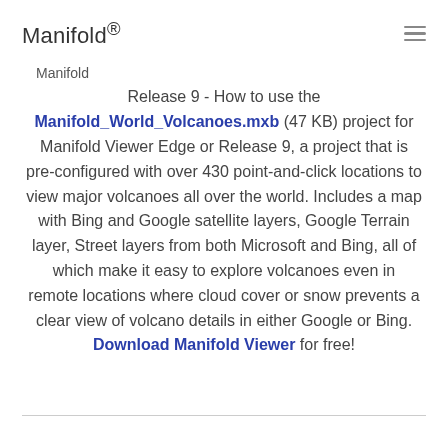Manifold®
Manifold
Release 9 - How to use the Manifold_World_Volcanoes.mxb (47 KB) project for Manifold Viewer Edge or Release 9, a project that is pre-configured with over 430 point-and-click locations to view major volcanoes all over the world. Includes a map with Bing and Google satellite layers, Google Terrain layer, Street layers from both Microsoft and Bing, all of which make it easy to explore volcanoes even in remote locations where cloud cover or snow prevents a clear view of volcano details in either Google or Bing. Download Manifold Viewer for free!